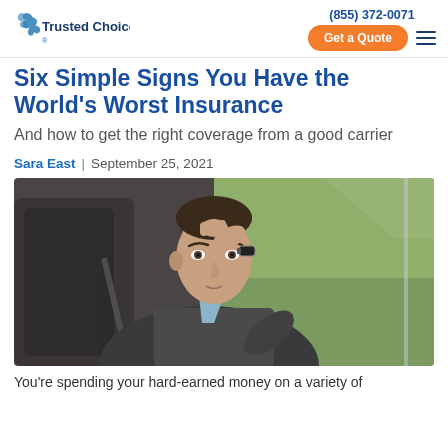Trusted Choice | (855) 372-0071 | Get a Quote
Six Simple Signs You Have the World's Worst Insurance
And how to get the right coverage from a good carrier
Sara East | September 25, 2021
[Figure (photo): A stressed man sitting in a car, resting his hand on his forehead, looking distressed. He is wearing a grey blazer. Background shows blurred green trees through the car window.]
You're spending your hard-earned money on a variety of